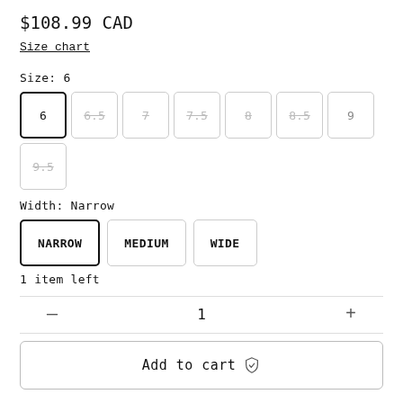$108.99 CAD
Size chart
Size: 6
Width: Narrow
1 item left
1
Add to cart